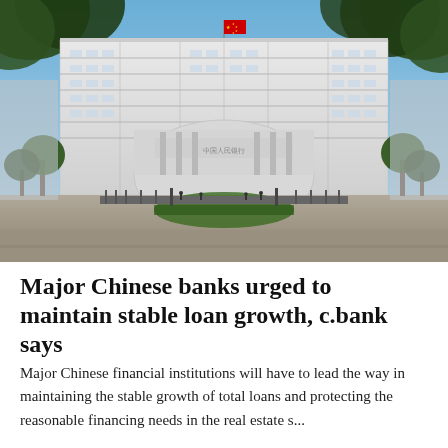[Figure (photo): Exterior photograph of the People's Bank of China headquarters building in Beijing — a large modern white multi-story office building with a curved central entrance pavilion, Chinese flag on top, trees framing the shot, and a courtyard in front.]
Major Chinese banks urged to maintain stable loan growth, c.bank says
Major Chinese financial institutions will have to lead the way in maintaining the stable growth of total loans and protecting the reasonable financing needs in the real estate s...